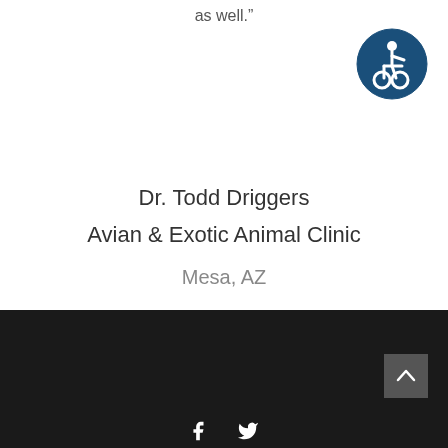as well.”
[Figure (logo): Accessibility icon — white wheelchair user symbol on dark blue circle]
Dr. Todd Driggers
Avian & Exotic Animal Clinic
Mesa, AZ
[Figure (other): Dark footer section with Facebook and Twitter icons, and a scroll-to-top button]